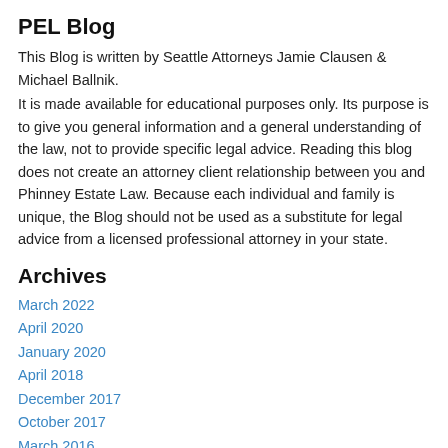PEL Blog
This Blog is written by Seattle Attorneys Jamie Clausen & Michael Ballnik.
It is made available for educational purposes only. Its purpose is to give you general information and a general understanding of the law, not to provide specific legal advice. Reading this blog does not create an attorney client relationship between you and Phinney Estate Law. Because each individual and family is unique, the Blog should not be used as a substitute for legal advice from a licensed professional attorney in your state.
Archives
March 2022
April 2020
January 2020
April 2018
December 2017
October 2017
March 2016
November 2015